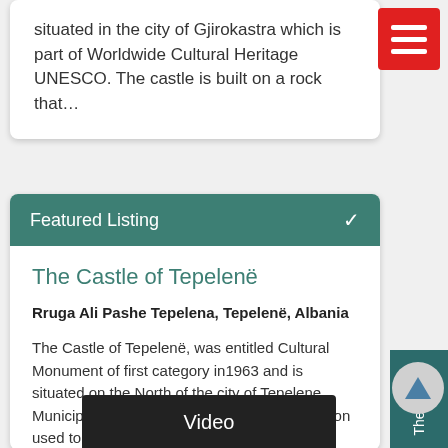situated in the city of Gjirokastra which is part of Worldwide Cultural Heritage UNESCO. The castle is built on a rock that…
[Figure (other): Red hamburger menu button with three white bars]
Featured Listing ✓
The Castle of Tepelenë
Rruga Ali Pashe Tepelena, Tepelenë, Albania
The Castle of Tepelenë, was entitled Cultural Monument of first category in1963 and is situated on the North of the city of Tepelene, Municipality of Tepelene. Its geographic position used to protect the castl…
Video